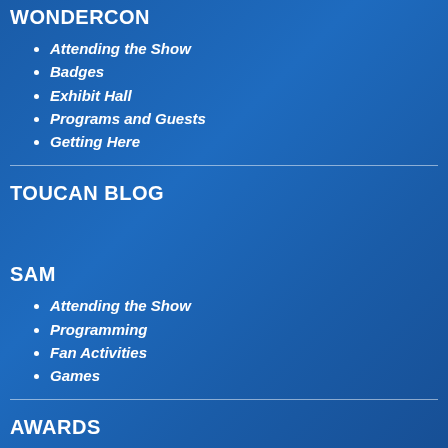WONDERCON
Attending the Show
Badges
Exhibit Hall
Programs and Guests
Getting Here
TOUCAN BLOG
SAM
Attending the Show
Programming
Fan Activities
Games
AWARDS
Awards
Eisner Awards